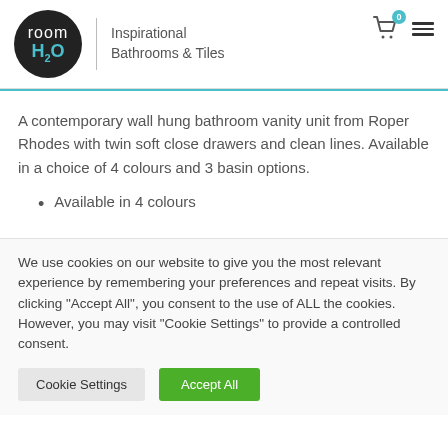[Figure (logo): Room H2O logo — black circle with 'room' in white and 'H2O' in teal, with tagline 'Inspirational Bathrooms & Tiles' to the right, and cart/hamburger icons top-right]
A contemporary wall hung bathroom vanity unit from Roper Rhodes with twin soft close drawers and clean lines. Available in a choice of 4 colours and 3 basin options.
Available in 4 colours
We use cookies on our website to give you the most relevant experience by remembering your preferences and repeat visits. By clicking "Accept All", you consent to the use of ALL the cookies. However, you may visit "Cookie Settings" to provide a controlled consent.